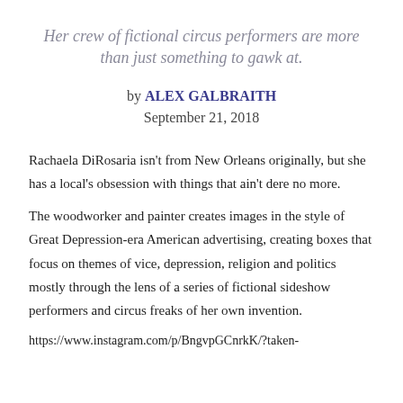Her crew of fictional circus performers are more than just something to gawk at.
by ALEX GALBRAITH
September 21, 2018
Rachaela DiRosaria isn't from New Orleans originally, but she has a local's obsession with things that ain't dere no more.
The woodworker and painter creates images in the style of Great Depression-era American advertising, creating boxes that focus on themes of vice, depression, religion and politics mostly through the lens of a series of fictional sideshow performers and circus freaks of her own invention.
https://www.instagram.com/p/BngvpGCnrkK/?taken-